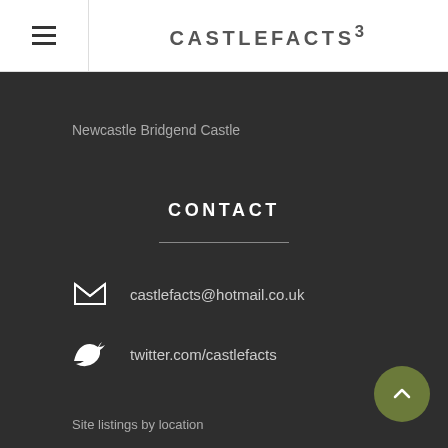CASTLEFACTS³
Newcastle Bridgend Castle
CONTACT
castlefacts@hotmail.co.uk
twitter.com/castlefacts
Site listings by location